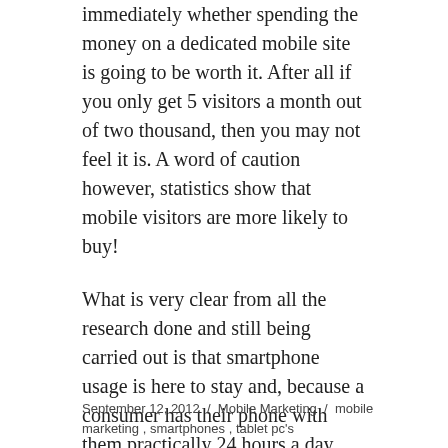immediately whether spending the money on a dedicated mobile site is going to be worth it. After all if you only get 5 visitors a month out of two thousand, then you may not feel it is. A word of caution however, statistics show that mobile visitors are more likely to buy!
What is very clear from all the research done and still being carried out is that smartphone usage is here to stay and, because a consumer has their phone with them practically 24 hours a day they're a marketing platform you cannot aford to ignore.
September 12, 2012  /  Mobile Marketing  /  mobile marketing , smartphones , tablet pc's